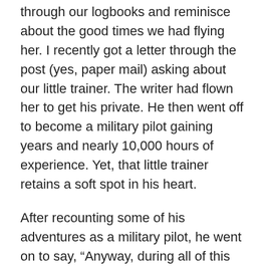through our logbooks and reminisce about the good times we had flying her. I recently got a letter through the post (yes, paper mail) asking about our little trainer. The writer had flown her to get his private. He then went off to become a military pilot gaining years and nearly 10,000 hours of experience. Yet, that little trainer retains a soft spot in his heart.
After recounting some of his adventures as a military pilot, he went on to say, “Anyway, during all of this time I always wondered what happened to her. Losing track of her was like losing track of an old friend. I hope she is well. Perhaps by now she has forgiven if not forgotten the times I ran her a little too rich or too lean, smacked that branch with her wingtip, or disparaged her tail number by having it reported to the authorities. In my defense on the latter, who wouldn’t want to practice strafing a munitions train that’s crossing a bridge, right? I was young then … invincible. Please give her my